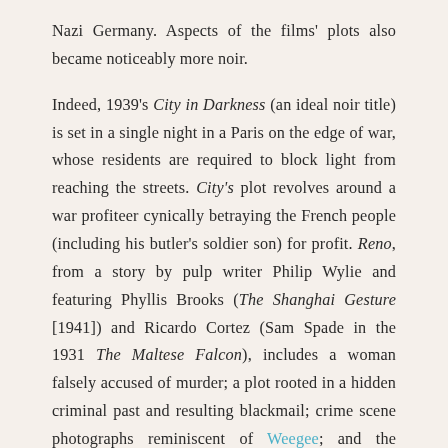Nazi Germany. Aspects of the films' plots also became noticeably more noir.

Indeed, 1939's City in Darkness (an ideal noir title) is set in a single night in a Paris on the edge of war, whose residents are required to block light from reaching the streets. City's plot revolves around a war profiteer cynically betraying the French people (including his butler's soldier son) for profit. Reno, from a story by pulp writer Philip Wylie and featuring Phyllis Brooks (The Shanghai Gesture [1941]) and Ricardo Cortez (Sam Spade in the 1931 The Maltese Falcon), includes a woman falsely accused of murder; a plot rooted in a hidden criminal past and resulting blackmail; crime scene photographs reminiscent of Weegee; and the femme-fatale characterization of Jeanne Bantly by actress Louise